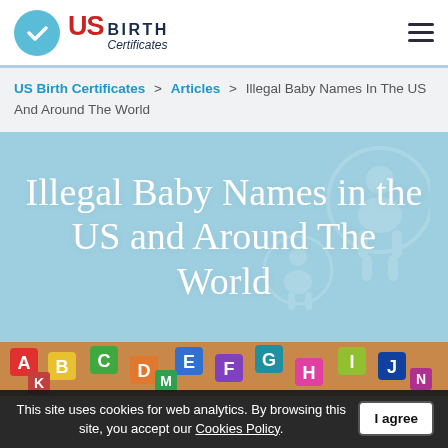US Birth Certificates — site header with logo and navigation menu
US Birth Certificates > Articles > Illegal Baby Names In The US And Around The World
Illegal Baby Names in the US and Around The World
[Figure (photo): Colorful alphabet letters scattered on a surface]
This site uses cookies for web analytics. By browsing this site, you accept our Cookies Policy.